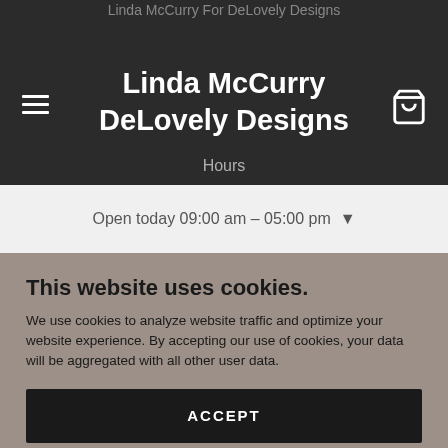Linda McCurry For DeLovely Designs
Linda McCurry DeLovely Designs
Hours
Open today 09:00 am – 05:00 pm
This website uses cookies.
We use cookies to analyze website traffic and optimize your website experience. By accepting our use of cookies, your data will be aggregated with all other user data.
ACCEPT